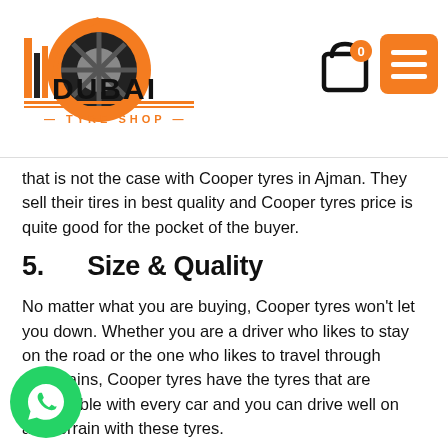[Figure (logo): Dubai Tyre Shop logo with orange tire graphic and text]
that is not the case with Cooper tyres in Ajman. They sell their tires in best quality and Cooper tyres price is quite good for the pocket of the buyer.
5.      Size & Quality
No matter what you are buying, Cooper tyres won't let you down. Whether you are a driver who likes to stay on the road or the one who likes to travel through mountains, Cooper tyres have the tyres that are compatible with every car and you can drive well on any terrain with these tyres.
When it comes to quality, they offer you a very smooth drive and will not get damaged if you speed up a little.
For those who are willing to buy Cooper tyres online, check r store, The Dubai Tyre Shop. We have a wide range of cooper tyres available. We are also offering a discount on Cooper tyres so make sure that you avail this wonderful